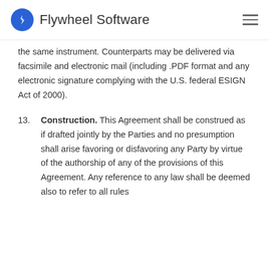Flywheel Software
the same instrument. Counterparts may be delivered via facsimile and electronic mail (including .PDF format and any electronic signature complying with the U.S. federal ESIGN Act of 2000).
13. Construction. This Agreement shall be construed as if drafted jointly by the Parties and no presumption shall arise favoring or disfavoring any Party by virtue of the authorship of any of the provisions of this Agreement. Any reference to any law shall be deemed also to refer to all rules